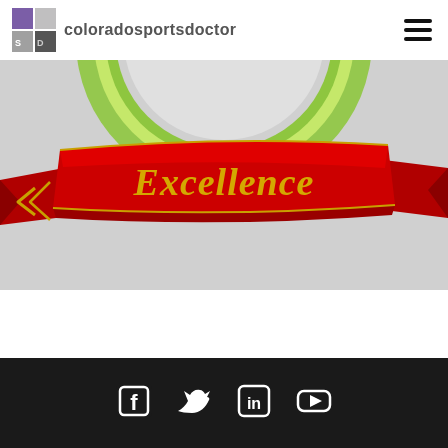coloradosportsdoctor
[Figure (illustration): Award badge with red ribbon banner reading 'Excellence' in gold gothic text, on a silver gear/star shaped medallion with green ring and blue center element, partially cropped at top]
Social media icons: Facebook, Twitter, LinkedIn, YouTube